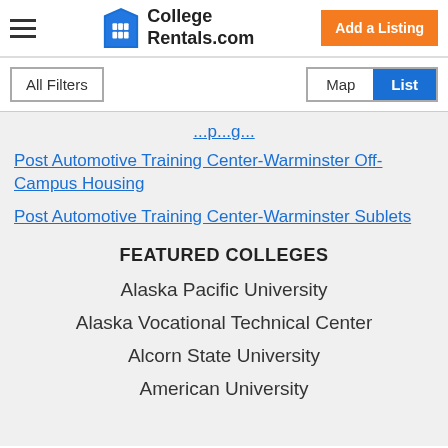College Rentals.com
All Filters | Map | List
(partial link text cut off at top)
Post Automotive Training Center-Warminster Off-Campus Housing
Post Automotive Training Center-Warminster Sublets
FEATURED COLLEGES
Alaska Pacific University
Alaska Vocational Technical Center
Alcorn State University
American University